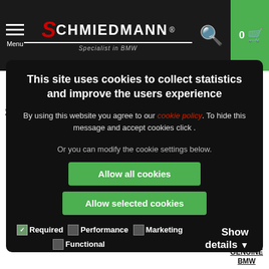[Figure (screenshot): Schmiedmann BMW website navigation bar with hamburger menu, logo, search icon, and green cart button showing 0 items]
[Figure (logo): Schmiedmann Specialist in BMW logo on grey background]
SKU 64-11-1-364-257
This site uses cookies to collect statistics and improve the users experience
By using this website you agree to our cookie policy. To hide this message and accept cookies click .
Or you can modify the cookie settings below.
Allow all cookies
Allow selected cookies
Required  Performance  Marketing  Functional  Show details
GENUINE BMW